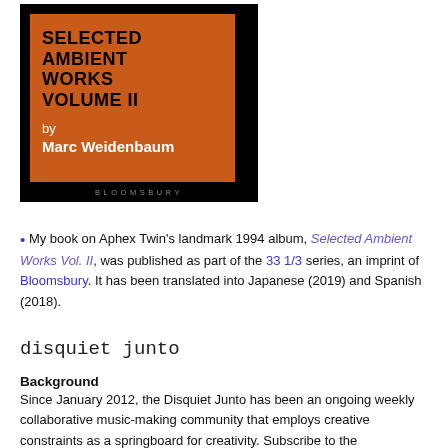[Figure (illustration): Book cover for 'Selected Ambient Works Volume II by Marc Weidenbaum', orange rectangle with black background, Bloomsbury imprint text at bottom]
• My book on Aphex Twin's landmark 1994 album, Selected Ambient Works Vol. II, was published as part of the 33 1/3 series, an imprint of Bloomsbury. It has been translated into Japanese (2019) and Spanish (2018).
disquiet junto
Background
Since January 2012, the Disquiet Junto has been an ongoing weekly collaborative music-making community that employs creative constraints as a springboard for creativity. Subscribe to the announcement list (each Thursday), listen to tracks by participants from around the world, read the FAQ, and join in.
Recent Projects